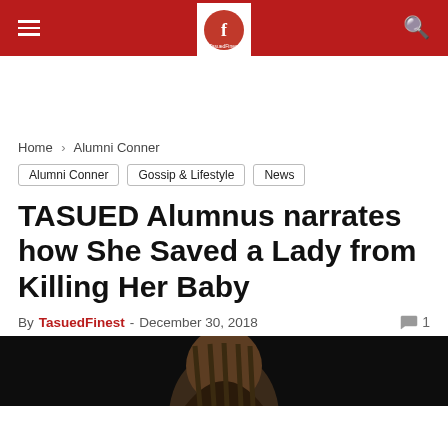TasuedFinest — navigation header with logo
Home › Alumni Conner
Alumni Conner | Gossip & Lifestyle | News
TASUED Alumnus narrates how She Saved a Lady from Killing Her Baby
By TasuedFinest - December 30, 2018  1
[Figure (photo): Portrait photo of a woman with braided hair against a dark background]